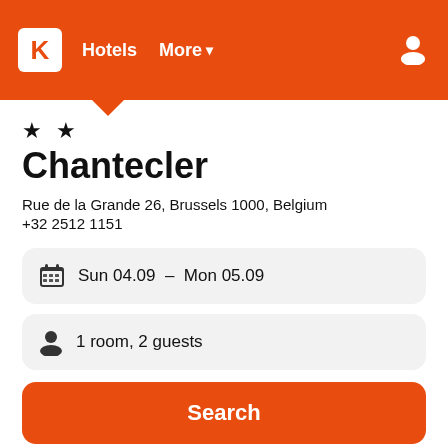K Hotels More
★ ★
Chantecler
Rue de la Grande 26, Brussels 1000, Belgium
+32 2512 1151
Sun 04.09 – Mon 05.09
1 room, 2 guests
Search
Provider